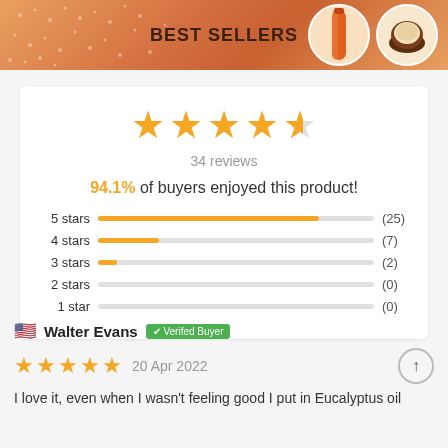BEST SELLERS
[Figure (bar-chart): Star rating distribution with 4.5 stars overall, 34 reviews, 94.1% of buyers enjoyed this product]
Walter Evans — Verifed Buyer
20 Apr 2022
I love it, even when I wasn't feeling good I put in Eucalyptus oil